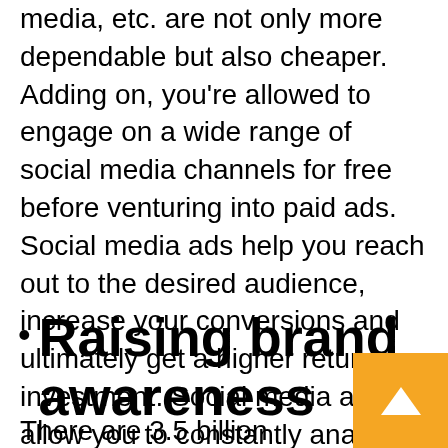media, etc. are not only more dependable but also cheaper. Adding on, you're allowed to engage on a wide range of social media channels for free before venturing into paid ads. Social media ads help you reach out to the desired audience, increase your conversions and ultimately get a higher return on investment. Social media ads allow you to constantly analyze how well or bad your ads are doing and change your ads on the go and monitor results accordingly.
Raising brand awareness
There are 3.5 billion active social media